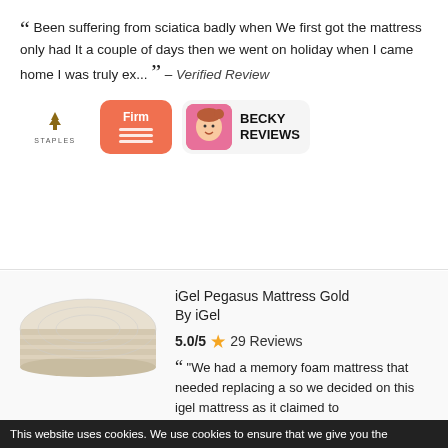“ Been suffering from sciatica badly when We first got the mattress only had It a couple of days then we went on holiday when I came home I was truly ex... ” - Verified Review
[Figure (other): Staples logo badge, Firm mattress badge (orange rounded rectangle with lines), and Becky Reviews badge (pink avatar with face and name)]
[Figure (photo): Photo of iGel Pegasus Mattress Gold — a cream/beige quilted spring mattress shown at an angle]
iGel Pegasus Mattress Gold
By iGel
5.0/5 ★ 29 Reviews
“ "We had a memory foam mattress that needed replacing a so we decided on this igel mattress as it claimed to
This website uses cookies. We use cookies to ensure that we give you the